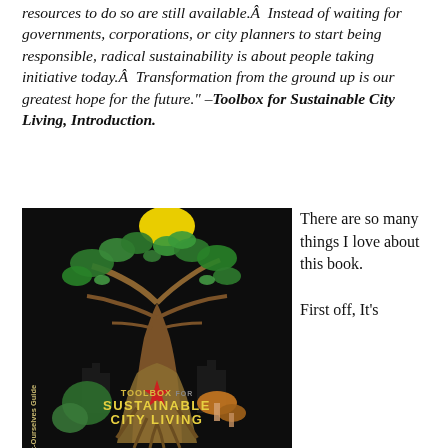resources to do so are still available.Â  Instead of waiting for governments, corporations, or city planners to start being responsible, radical sustainability is about people taking initiative today.Â  Transformation from the ground up is our greatest hope for the future." –Toolbox for Sustainable City Living, Introduction.
[Figure (photo): Book cover of 'Toolbox for Sustainable City Living' showing a stylized tree with hands as roots, city skyline, plants, mushrooms, a red star, and yellow sun against a black background. Text reads 'A Do-It-Ourselves Guide' along the spine and 'TOOLBOX FOR SUSTAINABLE CITY LIVING' prominently on the cover.]
There are so many things I love about this book.

First off, It's